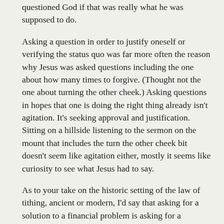questioned God if that was really what he was supposed to do.
Asking a question in order to justify oneself or verifying the status quo was far more often the reason why Jesus was asked questions including the one about how many times to forgive. (Thought not the one about turning the other cheek.) Asking questions in hopes that one is doing the right thing already isn't agitation. It's seeking approval and justification. Sitting on a hillside listening to the sermon on the mount that includes the turn the other cheek bit doesn't seem like agitation either, mostly it seems like curiosity to see what Jesus had to say.
As to your take on the historic setting of the law of tithing, ancient or modern, I'd say that asking for a solution to a financial problem is asking for a solution, not agitating for a specific decree on the part of God.